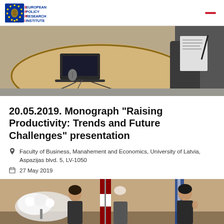[Figure (logo): European Policy Research Institute (EPRI) logo with EU flag stars and text]
[Figure (photo): Overhead view of a round wooden table with a laptop, cables, mouse and a person writing notes]
20.05.2019. Monograph “Raising Productivity: Trends and Future Challenges” presentation
Faculty of Business, Manahement and Economics, University of Latvia, Aspazijas blvd. 5, LV-1050
27 May 2019
[Figure (photo): Three people standing in front of flags in a formal setting]